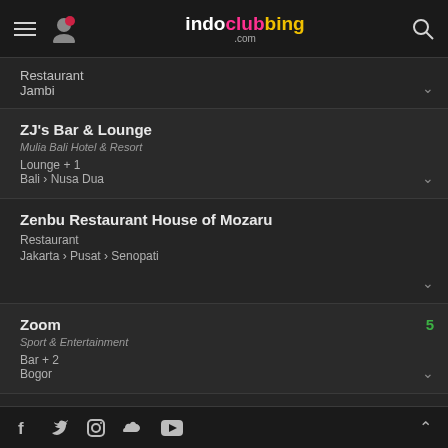indoclubbing.com
Restaurant
Jambi
ZJ's Bar & Lounge
Mulia Bali Hotel & Resort
Lounge + 1
Bali › Nusa Dua
Zenbu Restaurant House of Mozaru
Restaurant
Jakarta › Pusat › Senopati
Zoom
Sport & Entertainment
Bar + 2
Bogor
Zhuma Japanese
Senayan City
Restaurant
f  Twitter  Instagram  Soundcloud  YouTube